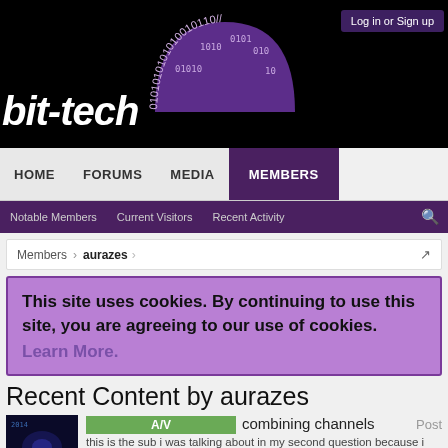[Figure (logo): bit-tech website logo with binary semicircle graphic on black background]
Log in or Sign up
HOME   FORUMS   MEDIA   MEMBERS
Notable Members   Current Visitors   Recent Activity
Members > aurazes
This site uses cookies. By continuing to use this site, you are agreeing to our use of cookies. Learn More.
Recent Content by aurazes
A/V   combining channels   Post
this is the sub i was talking about in my second question because i wanna